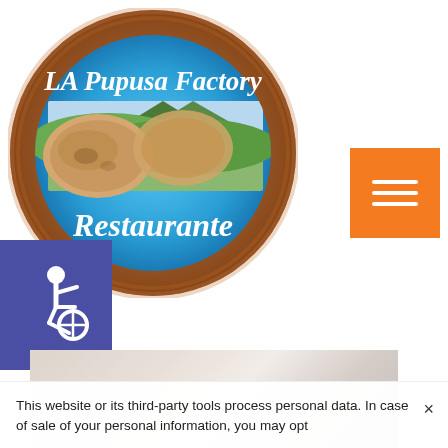[Figure (logo): LA Pupusa Factory Restaurante circular logo with wooden frame, blue background, italic white text and food photo in center]
[Figure (other): Orange hamburger menu button with three white horizontal lines]
[Figure (other): Blue square accessibility icon with wheelchair symbol]
[Figure (photo): Partial food photo showing a light-colored dish, blurred/cropped at bottom of page]
This website or its third-party tools process personal data. In case of sale of your personal information, you may opt